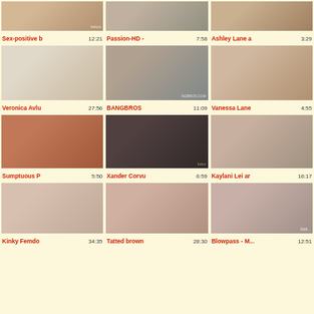[Figure (screenshot): Video thumbnail grid page showing adult video thumbnails with titles and durations]
Sex-positive b... 12:21
Passion-HD - ... 7:58
Ashley Lane a... 3:29
Veronica Avlu... 27:56
BANGBROS 11:09
Vanessa Lane... 4:55
Sumptuous P... 5:50
Xander Corvu... 6:59
Kaylani Lei ar... 16:17
Kinky Femdo... 34:35
Tatted brown... 28:30
Blowpass - M... 12:51